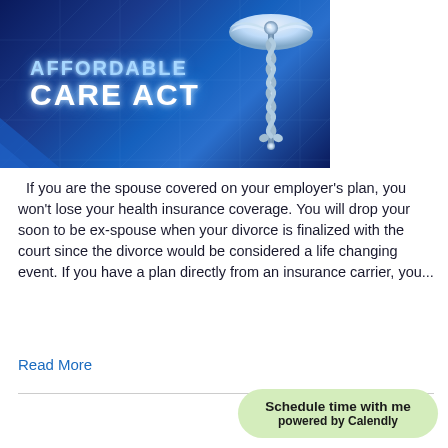[Figure (illustration): Affordable Care Act logo with caduceus medical symbol on dark blue background with grid pattern]
If you are the spouse covered on your employer’s plan, you won’t lose your health insurance coverage. You will drop your soon to be ex-spouse when your divorce is finalized with the court since the divorce would be considered a life changing event. If you have a plan directly from an insurance carrier, you...
Read More
[Figure (other): Schedule time with me powered by Calendly button]